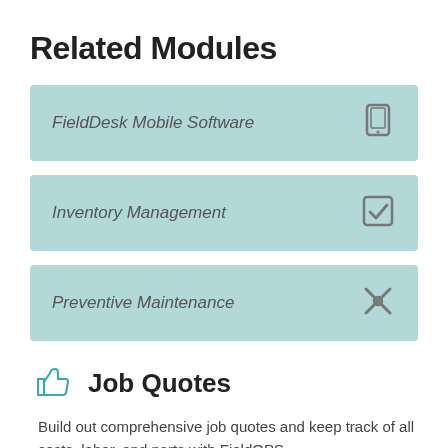Related Modules
FieldDesk Mobile Software
Inventory Management
Preventive Maintenance
Job Quotes
Build out comprehensive job quotes and keep track of all costs, labor, and parts with FieldOPS.
Create fixed price job quotes in the field
Assign an appropriate margin to each type of